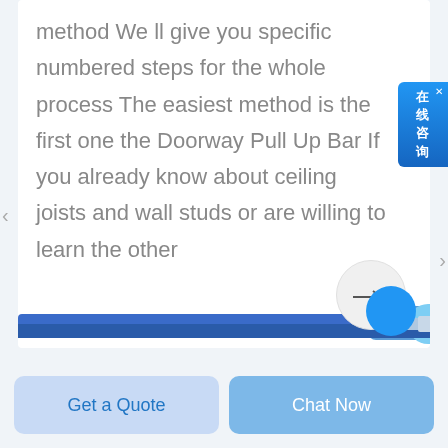method We ll give you specific numbered steps for the whole process The easiest method is the first one the Doorway Pull Up Bar If you already know about ceiling joists and wall studs or are willing to learn the other
[Figure (screenshot): Chinese online chat widget button on the right side, blue gradient background with Chinese characters 在线咨询 (Online Consultation) and a close X button]
[Figure (photo): Partial product image showing a blue pull-up bar at the bottom of the page]
Get a Quote
Chat Now